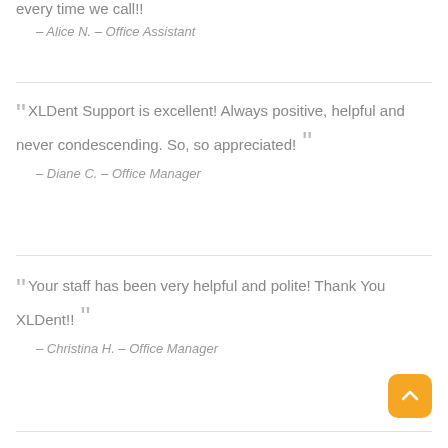every time we call!!
– Alice N. – Office Assistant
" XLDent Support is excellent! Always positive, helpful and never condescending. So, so appreciated! "
– Diane C. – Office Manager
" Your staff has been very helpful and polite! Thank You XLDent!! "
– Christina H. – Office Manager